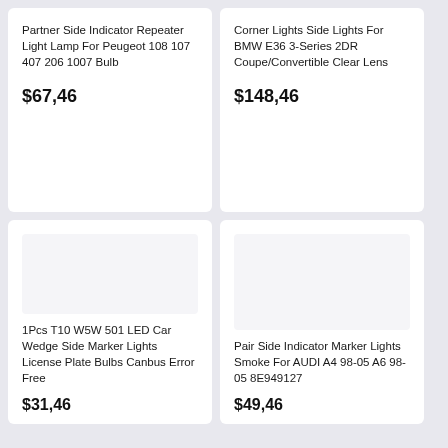Partner Side Indicator Repeater Light Lamp For Peugeot 108 107 407 206 1007 Bulb
$67,46
Corner Lights Side Lights For BMW E36 3-Series 2DR Coupe/Convertible Clear Lens
$148,46
1Pcs T10 W5W 501 LED Car Wedge Side Marker Lights License Plate Bulbs Canbus Error Free
$31,46
Pair Side Indicator Marker Lights Smoke For AUDI A4 98-05 A6 98-05 8E949127
$49,46